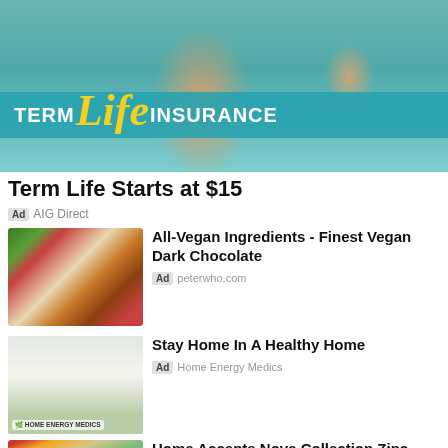[Figure (photo): Banner ad showing man holding baby with 'TERM Life INSURANCE' text overlay on teal background]
Term Life Starts at $15
Ad  AIG Direct
[Figure (photo): Photo of vegan chocolate cookies with berries and roses]
All-Vegan Ingredients - Finest Vegan Dark Chocolate
Ad  peterwho.com
[Figure (photo): Photo of two elderly people at table, Home Energy Medics logo]
Stay Home In A Healthy Home
Ad  Home Energy Medics
[Figure (photo): Photo of vegetable peeler on cutting board with vegetables]
Home Accents Nova Collection Zinc Horizontal Vegetable Peeler, Silver,